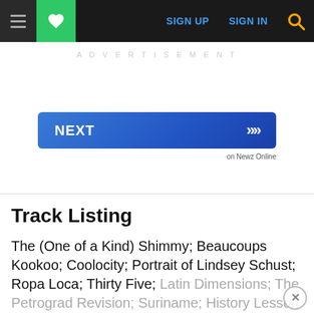SIGN UP  SIGN IN
ADVERTISEMENT
[Figure (other): NEXT button with double chevron arrows, gradient blue background, labeled 'on Newz Online']
Track Listing
The (One of a Kind) Shimmy; Beaucoups Kookoo; Coolocity; Portrait of Lindsey Schust; Ropa Loca; Thirty Five; Latin Dimensions; The Petrograd Revision; Suriname; History Lesson.